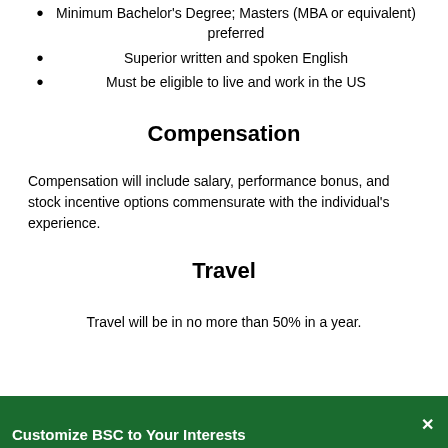Minimum Bachelor's Degree; Masters (MBA or equivalent) preferred
Superior written and spoken English
Must be eligible to live and work in the US
Compensation
Compensation will include salary, performance bonus, and stock incentive options commensurate with the individual's experience.
Travel
Travel will be in no more than 50% in a year.
Customize BSC to Your Interests